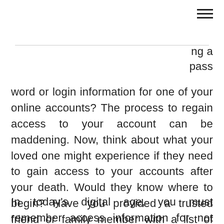≡
ng a pass
word or login information for one of your online accounts? The process to regain access to your account can be maddening. Now, think about what your loved one might experience if they need to gain access to your accounts after your death. Would they know where to begin? Have you provided a trusted friend or family member with a list of your digital accounts and passwords, or at the very least, provided them with the location of where that information is stored?
In today's digital age, you must remember access information for not only social media and